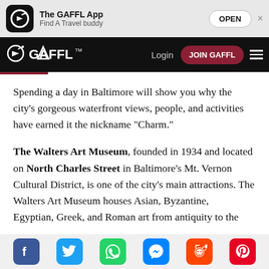[Figure (screenshot): App banner for The GAFFL App with logo icon, title, subtitle 'Find A Travel buddy', OPEN button, and close X]
[Figure (screenshot): GAFFL navigation bar with logo, Login link, JOIN GAFFL button, and hamburger menu]
Spending a day in Baltimore will show you why the city's gorgeous waterfront views, people, and activities have earned it the nickname "Charm."
The Walters Art Museum, founded in 1934 and located on North Charles Street in Baltimore's Mt. Vernon Cultural District, is one of the city's main attractions. The Walters Art Museum houses Asian, Byzantine, Egyptian, Greek, and Roman art from antiquity to the
[Figure (screenshot): Social sharing bar with icons for Facebook, Twitter, WhatsApp, Messenger, Reddit, and Pinterest]